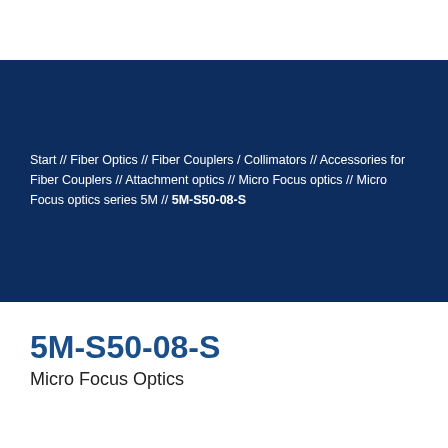Start // Fiber Optics // Fiber Couplers / Collimators // Accessories for Fiber Couplers // Attachment optics // Micro Focus optics // Micro Focus optics series 5M // 5M-S50-08-S
5M-S50-08-S
Micro Focus Optics